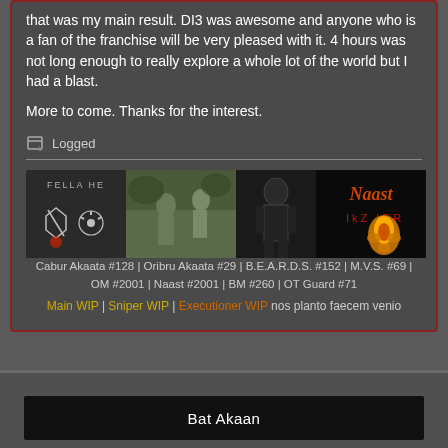that was my main result. DI3 was awesome and anyone who is a fan of the franchise will be very pleased with it. 4 hours was not long enough to really explore a whole lot of the world but I had a blast.
More to come. Thanks for the interest.
Logged
[Figure (photo): Fan signature banner showing game clan logos and photos: Fallout-style icons, soldiers in field, dark figure, and Naast clan logo with flame emblem.]
Cabur Akaata #128 | Oribru Akaata #29 | B.E.A.R.D.S. #152 | M.V.S. #69 | OM #2001 | Naast #2001 | BM #260 | OT Guard #71
Main WIP | Sniper WIP | Executioner WIP nos planto faecem venio
Bat Akaan